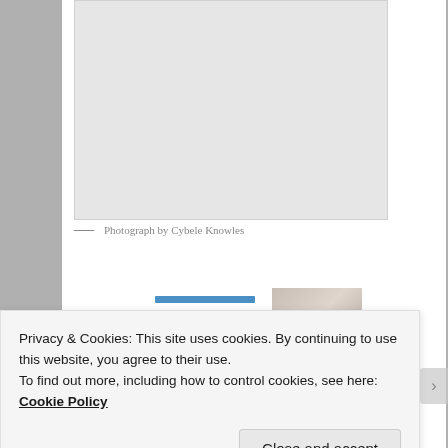[Figure (photo): Gray placeholder box representing a photograph in a white document card]
— Photograph by Cybele Knowles
[Figure (photo): Small thumbnail photo of a person, partially visible at bottom right of document]
Privacy & Cookies: This site uses cookies. By continuing to use this website, you agree to their use.
To find out more, including how to control cookies, see here: Cookie Policy